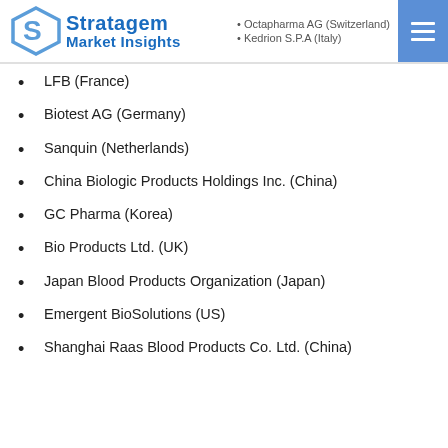Stratagem Market Insights
Octapharma AG (Switzerland)
Kedrion S.P.A (Italy)
LFB (France)
Biotest AG (Germany)
Sanquin (Netherlands)
China Biologic Products Holdings Inc. (China)
GC Pharma (Korea)
Bio Products Ltd. (UK)
Japan Blood Products Organization (Japan)
Emergent BioSolutions (US)
Shanghai Raas Blood Products Co. Ltd. (China)